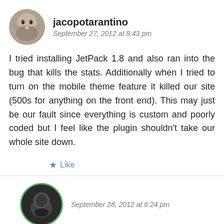jacopotarantino
September 27, 2012 at 8:43 pm
I tried installing JetPack 1.8 and also ran into the bug that kills the stats. Additionally when I tried to turn on the mobile theme feature it killed our site (500s for anything on the front end). This may just be our fault since everything is custom and poorly coded but I feel like the plugin shouldn't take our whole site down.
Like
September 28, 2012 at 6:24 pm
Christopher Finke  Jetpack Employee Jetpack 1.8.1 has been released to address these